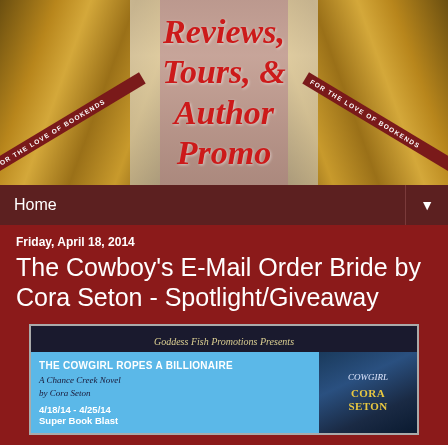[Figure (illustration): Blog header banner with ornate books on left and right, red cursive text center reading 'Reviews, Tours, & Author Promo', with diagonal ribbon banners reading 'FOR THE LOVE OF BOOKENDS' on both sides]
Home ▼
Friday, April 18, 2014
The Cowboy's E-Mail Order Bride by Cora Seton - Spotlight/Giveaway
[Figure (illustration): Goddess Fish Promotions book tour banner. Top dark background reads 'Goddess Fish Promotions Presents'. Middle blue section left side reads: 'THE COWGIRL ROPES A BILLIONAIRE / A Chance Creek Novel / by Cora Seton / 4/18/14 - 4/25/14 / Super Book Blast'. Right side shows book cover with couple and text 'COWGIRL / CORA SETON']